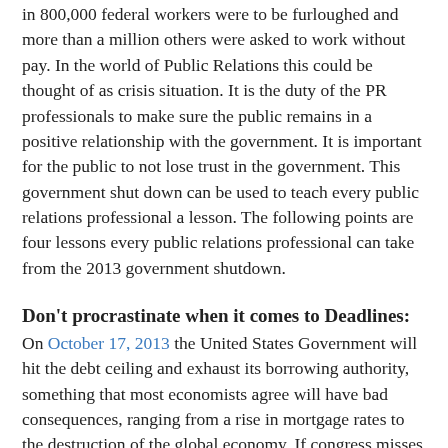in 800,000 federal workers were to be furloughed and more than a million others were asked to work without pay. In the world of Public Relations this could be thought of as crisis situation. It is the duty of the PR professionals to make sure the public remains in a positive relationship with the government. It is important for the public to not lose trust in the government. This government shut down can be used to teach every public relations professional a lesson. The following points are four lessons every public relations professional can take from the 2013 government shutdown.
Don't procrastinate when it comes to Deadlines:
On October 17, 2013 the United States Government will hit the debt ceiling and exhaust its borrowing authority, something that most economists agree will have bad consequences, ranging from a rise in mortgage rates to the destruction of the global economy. If congress misses this deadline to come to an agreement on the health care bill, this could be detrimental to the people of the United States.
If a public relations professional misses a deadline it will not cause a financial outrage however it will cause your boss or client to be upset. For example if a press release is missed vital